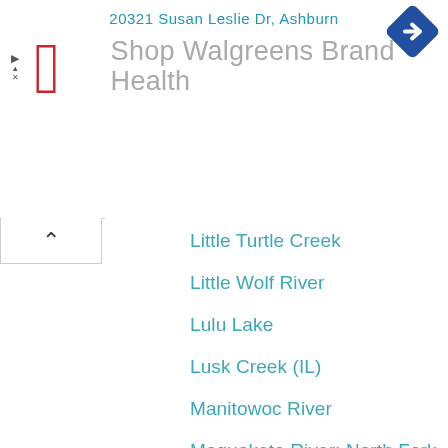[Figure (screenshot): Advertisement banner showing Walgreens logo and text 'Shop Walgreens Brand Health', with address '20321 Susan Leslie Dr, Ashburn' at top and a blue navigation diamond icon top-right]
Little Turtle Creek
Little Wolf River
Lulu Lake
Lusk Creek (IL)
Manitowoc River
Maquoketa River: North Fork (IA)
Maunesha River
Mecan River
Menomonee River
Mill Creek (Iowa County)